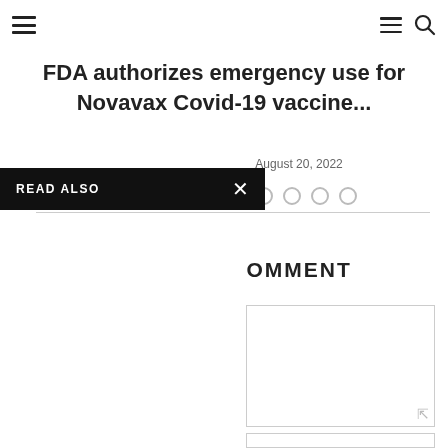Navigation header with hamburger menus and search icon
FDA authorizes emergency use for Novavax Covid-19 vaccine...
August 20, 2022
READ ALSO
OMMENT
Comment textarea field
Input field